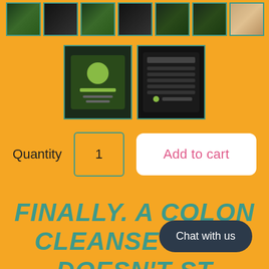[Figure (screenshot): Row of product thumbnail images with teal borders on orange background]
[Figure (screenshot): Second row of two larger product thumbnail images with teal borders]
Quantity   1   Add to cart
FINALLY. A COLON CLEANSE THAT DOESN'T ST
Chat with us